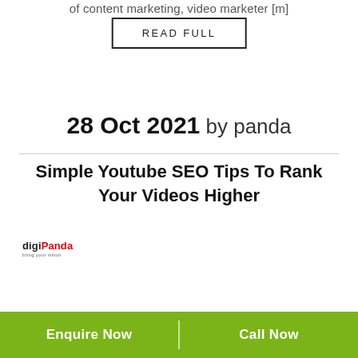of content marketing, video marketer [m]
READ FULL
28 Oct 2021 by panda
Simple Youtube SEO Tips To Rank Your Videos Higher
[Figure (logo): digiPanda logo with tagline]
[Figure (photo): Article thumbnail image showing SIMPLE YOUTUBE text with red brush stroke background and smartphone graphic, with We're Hiring badge]
Enquire Now
Call Now